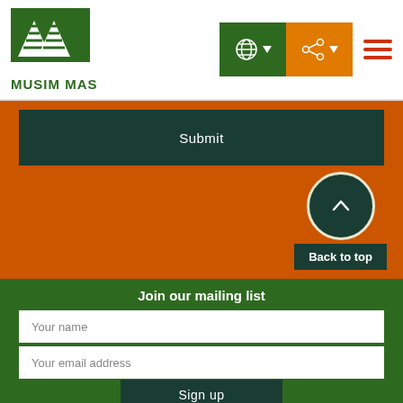[Figure (logo): Musim Mas logo with green triangle mountain/pyramid icon and green text MUSIM MAS]
[Figure (infographic): Navigation bar icons: green globe with dropdown, orange share icon with dropdown, and orange-red hamburger menu]
Submit
[Figure (infographic): Back to top button: dark teal circle with upward chevron arrow, and dark teal label reading Back to top]
Join our mailing list
Your name
Your email address
Sign up